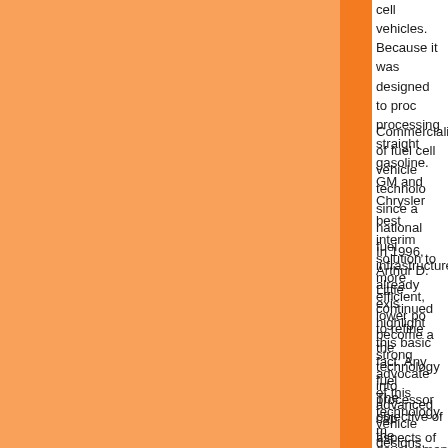cell vehicles. Because it was designed to proc... processing straight gasoline. GM and Chrysler... best interim solution to more efficient, lower po... become a strong advocate of this technology, m... development of multi-fuel capable fuel cell pow... $30 million) will be directed toward multi-fuel fu...
Commercialization of fuel cell vehicle technolo... since a national fuel infrastructure already exis... highlight this basic fact: Any fuel processor cap... aspects of ethanol fuel processing (such as ca...
In 1996, Arthur D. Little continued to refine the... technology into advanced vehicle designs. Arth... the case for ethanol, a very desirable fuel for fu... cost associated with use of ethanol as a fuel ce... demonstrating that a lower cost feedstock can... public forums including the 1996 Fuel Cell Sem... 1996 program to be presented to the Society o...
The objective of the proposed project is to ens... response to an announced solicitation, Arthur D... proposal (for approximately $15 million) to DOE... will require that this powerplant operate on gas... specific design and demonstration tasks to ass... Specific objectives for ethanol include:
Form a competitive team (including Arthur D. L... and other commercial companies) to successf...